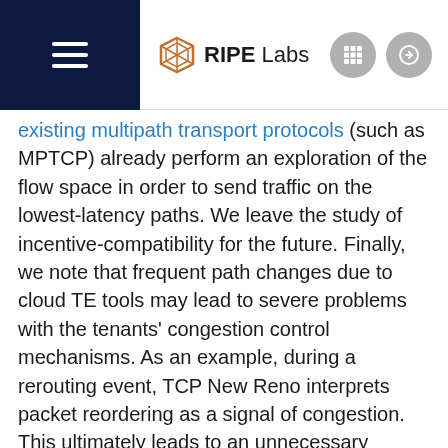RIPE Labs
existing multipath transport protocols (such as MPTCP) already perform an exploration of the flow space in order to send traffic on the lowest-latency paths. We leave the study of incentive-compatibility for the future. Finally, we note that frequent path changes due to cloud TE tools may lead to severe problems with the tenants' congestion control mechanisms. As an example, during a rerouting event, TCP New Reno interprets packet reordering as a signal of congestion. This ultimately leads to an unnecessary throughput degradation for the cloud tenants. We leave the study of TE and congestion control mechanisms as future work.